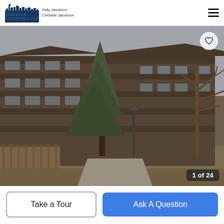Greater Calgary Real Estate — Kelly Jacobson, Christine Jacobson
[Figure (photo): Exterior photo of a multi-storey residential condo building with dark brown wood siding, balconies, surrounded by evergreen and bare deciduous trees, with a pathway and lawn in the foreground. Image counter shows 1 of 24.]
Take a Tour
Ask A Question